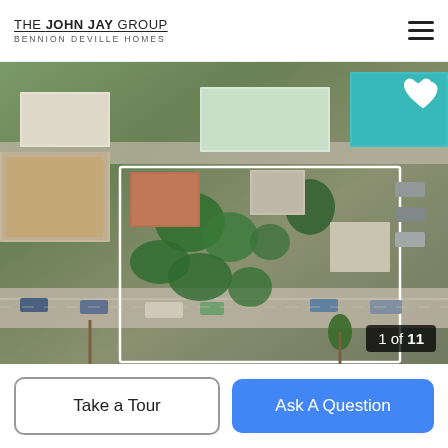THE JOHN JAY GROUP | BENNION DEVILLE HOMES
[Figure (photo): Aerial view of a residential property lot outlined with a white border, showing multiple structures, trees, and surrounding urban neighborhood with streets and parked cars. A white heart icon is visible in the top-right corner of the image.]
1 of 11
Take a Tour
Ask A Question